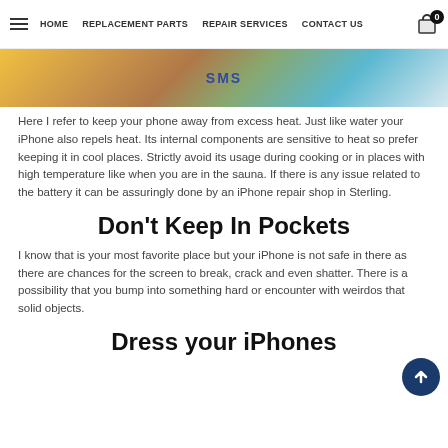HOME | REPLACEMENT PARTS | REPAIR SERVICES | CONTACT US
[Figure (photo): Partial image showing colorful background with SMS branding visible]
Here I refer to keep your phone away from excess heat. Just like water your iPhone also repels heat. Its internal components are sensitive to heat so prefer keeping it in cool places. Strictly avoid its usage during cooking or in places with high temperature like when you are in the sauna. If there is any issue related to the battery it can be assuringly done by an iPhone repair shop in Sterling.
Don't Keep In Pockets
I know that is your most favorite place but your iPhone is not safe in there as there are chances for the screen to break, crack and even shatter. There is a possibility that you bump into something hard or encounter with weirdos that solid objects.
Dress your iPhones